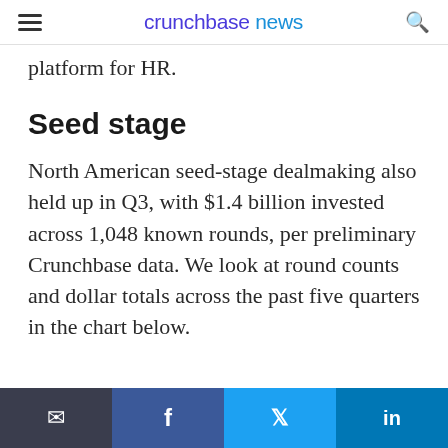crunchbase news
platform for HR.
Seed stage
North American seed-stage dealmaking also held up in Q3, with $1.4 billion invested across 1,048 known rounds, per preliminary Crunchbase data. We look at round counts and dollar totals across the past five quarters in the chart below.
Email | Facebook | Twitter | LinkedIn